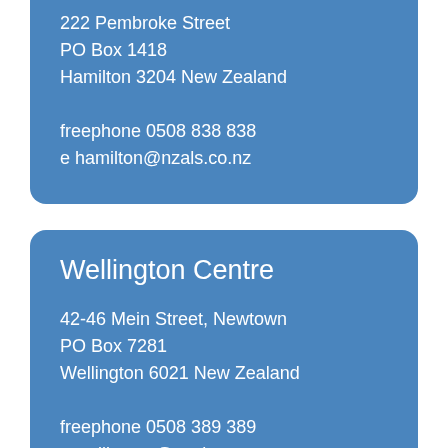222 Pembroke Street
PO Box 1418
Hamilton 3204 New Zealand

freephone 0508 838 838
e hamilton@nzals.co.nz
Wellington Centre
42-46 Mein Street, Newtown
PO Box 7281
Wellington 6021 New Zealand

freephone 0508 389 389
e wellington@nzals.co.nz